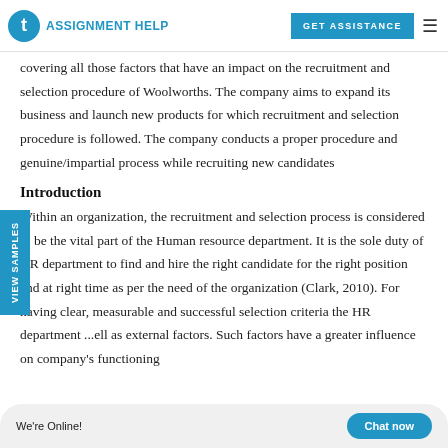AssignmentHelp | GET ASSISTANCE
covering all those factors that have an impact on the recruitment and selection procedure of Woolworths. The company aims to expand its business and launch new products for which recruitment and selection procedure is followed. The company conducts a proper procedure and genuine/impartial process while recruiting new candidates
Introduction
Within an organization, the recruitment and selection process is considered to be the vital part of the Human resource department. It is the sole duty of HR department to find and hire the right candidate for the right position and at right time as per the need of the organization (Clark, 2010). For having clear, measurable and successful selection criteria the HR department ...ell as external factors. Such factors have a greater influence on company's functioning